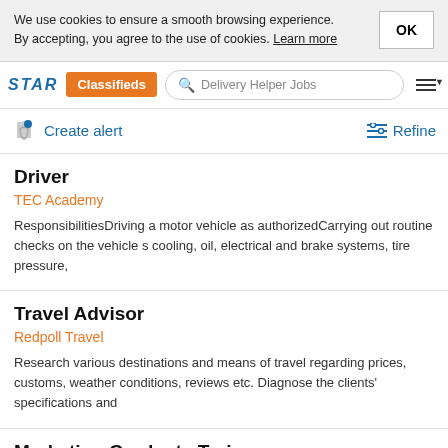We use cookies to ensure a smooth browsing experience. By accepting, you agree to the use of cookies. Learn more
STAR Classifieds — Delivery Helper Jobs
Create alert   Refine
Driver
TEC Academy
ResponsibilitiesDriving a motor vehicle as authorizedCarrying out routine checks on the vehicle s cooling, oil, electrical and brake systems, tire pressure,
Travel Advisor
Redpoll Travel
Research various destinations and means of travel regarding prices, customs, weather conditions, reviews etc. Diagnose the clients' specifications and
Marketing Graduate Trainee
Weetabix East Africa
Nairobi